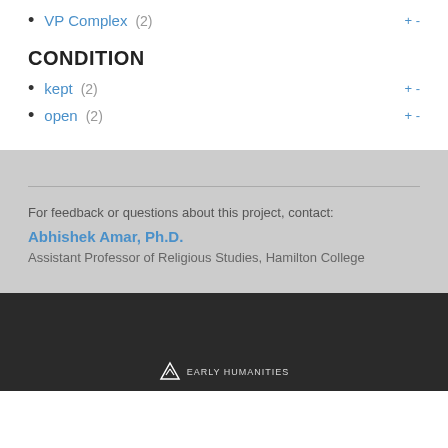VP Complex (2)
CONDITION
kept (2)
open (2)
For feedback or questions about this project, contact:
Abhishek Amar, Ph.D.
Assistant Professor of Religious Studies, Hamilton College
EARLY HUMANITIES